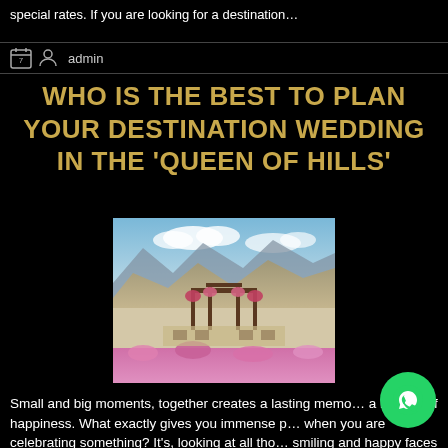special rates. If you are looking for a destination…
admin
WHO IS THE BEST TO PLAN YOUR DESTINATION WEDDING IN THE 'QUEEN OF HILLS'
[Figure (photo): Outdoor wedding mandap decorated with flowers set against a dramatic mountain backdrop with blue sky and clouds]
Small and big moments, together creates a lasting memo… a lifetime of happiness. What exactly gives you immense p… when you are celebrating something? It's, looking at all tho… smiling and happy faces of your loved ones. When it is hills…